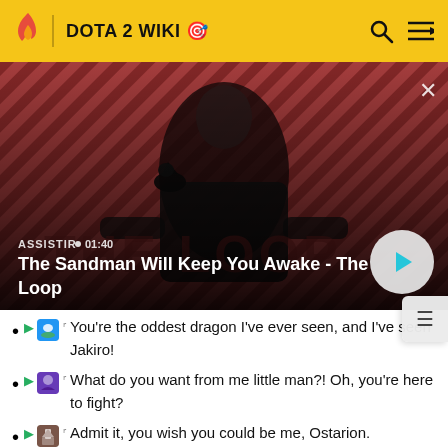DOTA 2 WIKI
[Figure (screenshot): Video banner showing a dark-clad figure with a raven on shoulder against red striped background. Labeled 'The Sandman Will Keep You Awake - The Loop' with duration 01:40 and a play button.]
ASSISTIR • 01:40
The Sandman Will Keep You Awake - The Loop
You're the oddest dragon I've ever seen, and I've seen Jakiro!
What do you want from me little man?! Oh, you're here to fight?
Admit it, you wish you could be me, Ostarion.
You had to work so hard for what came...